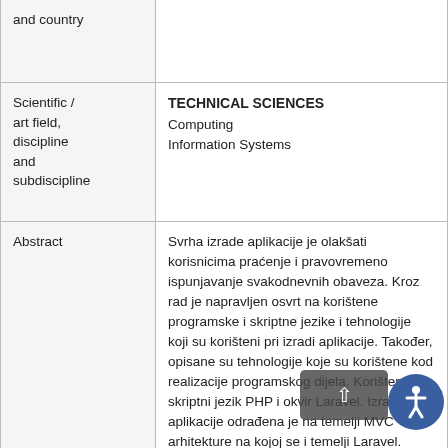| Field | Value |
| --- | --- |
| Scientific / art field, discipline and subdiscipline | TECHNICAL SCIENCES
Computing
Information Systems |
| Abstract | Svrha izrade aplikacije je olakšati korisnicima praćenje i pravovremeno ispunjavanje svakodnevnih obaveza. Kroz rad je napravljen osvrt na korištene programske i skriptne jezike i tehnologije koji su korišteni pri izradi aplikacije. Također, opisane su tehnologije koje su korištene kod realizacije programskog dijela. Korišten je skriptni jezik PHP i okvir Laravel. Izrada aplikacije odrađena je na temelji MVC arhitekture na kojoj se i temelji Laravel. Aplikacija se sastoji od sučelja za:... More |